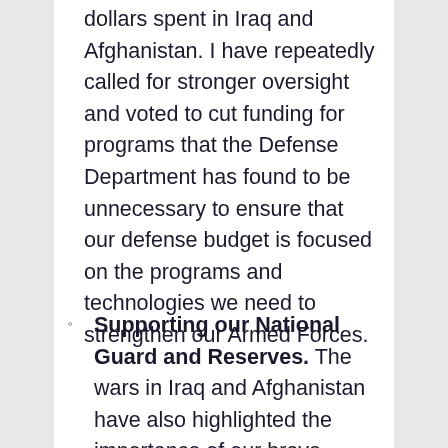dollars spent in Iraq and Afghanistan. I have repeatedly called for stronger oversight and voted to cut funding for programs that the Defense Department has found to be unnecessary to ensure that our defense budget is focused on the programs and technologies we need to strengthen our Armed Forces.
Supporting our National Guard and Reserves. The wars in Iraq and Afghanistan have also highlighted the importance of our brave citizen-soldiers in the National